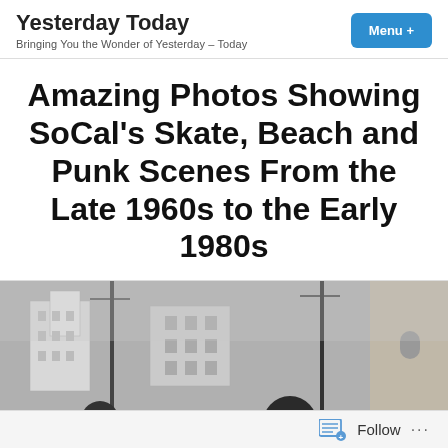Yesterday Today
Bringing You the Wonder of Yesterday – Today
Amazing Photos Showing SoCal's Skate, Beach and Punk Scenes From the Late 1960s to the Early 1980s
[Figure (photo): Black and white photograph showing people on a street with buildings in the background, cropped at the top portion showing heads and urban scenery]
Follow ...